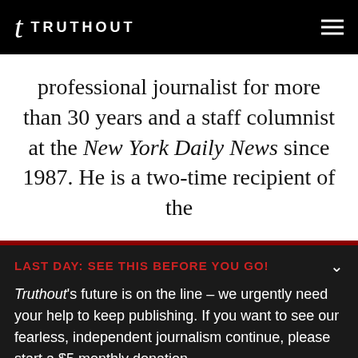TRUTHOUT
professional journalist for more than 30 years and a staff columnist at the New York Daily News since 1987. He is a two-time recipient of the
LAST DAY: SEE THIS BEFORE YOU GO!
Truthout's future is on the line – we urgently need your help to keep publishing. If you want to see our fearless, independent journalism continue, please start a $5 monthly donation.
DONATE
DONATE MONTHLY